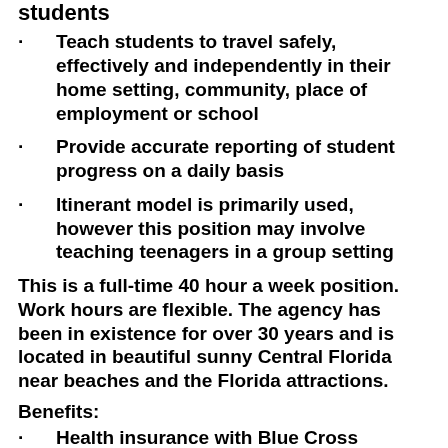students
Teach students to travel safely, effectively and independently in their home setting, community, place of employment or school
Provide accurate reporting of student progress on a daily basis
Itinerant model is primarily used, however this position may involve teaching teenagers in a group setting
This is a full-time 40 hour a week position. Work hours are flexible. The agency has been in existence for over 30 years and is located in beautiful sunny Central Florida near beaches and the Florida attractions.
Benefits:
Health insurance with Blue Cross